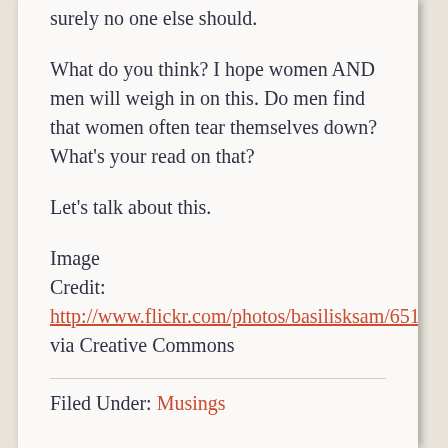surely no one else should.
What do you think? I hope women AND men will weigh in on this. Do men find that women often tear themselves down? What's your read on that?
Let's talk about this.
Image Credit: http://www.flickr.com/photos/basilisksam/6516766343/ via Creative Commons
Filed Under: Musings